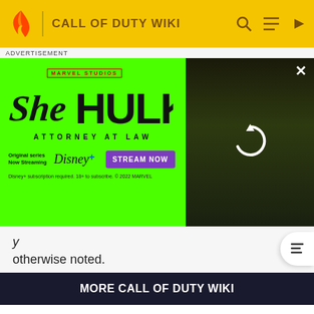CALL OF DUTY WIKI
[Figure (screenshot): She-Hulk: Attorney at Law advertisement banner on green background with Marvel Studios branding, Disney+ logo, Stream Now button, and actress photo on right side]
otherwise noted.
MORE CALL OF DUTY WIKI
1 Call of Duty (series)
2 Call of Duty: Modern Warfare II